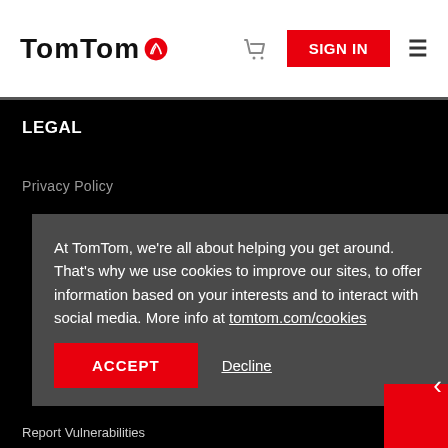TomTom — SIGN IN
LEGAL
Privacy Policy
At TomTom, we're all about helping you get around. That's why we use cookies to improve our sites, to offer information based on your interests and to interact with social media. More info at tomtom.com/cookies
ACCEPT   Decline
Report Vulnerabilities